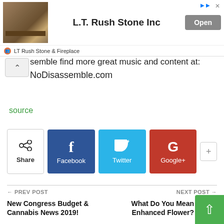[Figure (screenshot): Advertisement banner for L.T. Rush Stone Inc with stone fireplace image, company name, Open button, and 'LT Rush Stone & Fireplace' store label]
semble find more great music and content at: NoDisassemble.com
source
[Figure (screenshot): Social share buttons row: Share, Facebook, Twitter, Google+, and a more (+) button]
← PREV POST
New Congress Budget & Cannabis News 2019!
NEXT POST →
What Do You Mean Enhanced Flower?